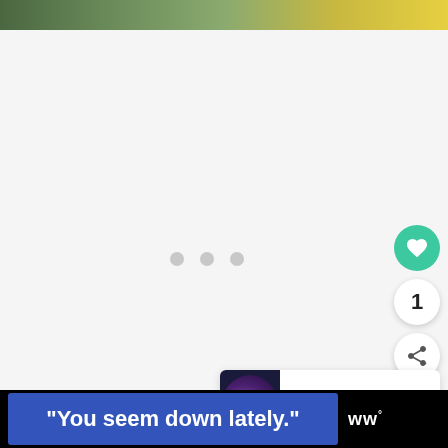[Figure (photo): Top banner image strip showing outdoor/nature scene with green and yellow tones]
[Figure (screenshot): Main content area with light gray background showing three loading dots in center, heart/like FAB button (green), count button showing '1', and share FAB button]
1
[Figure (screenshot): What's Next card showing thumbnail of concert venue and text 'WHAT'S NEXT → There's Only One Queen...']
WHAT'S NEXT → There's Only One Queen...
[Figure (screenshot): Bottom ad bar with blue banner reading '"You seem down lately."' and logo 'ww°']
"You seem down lately."